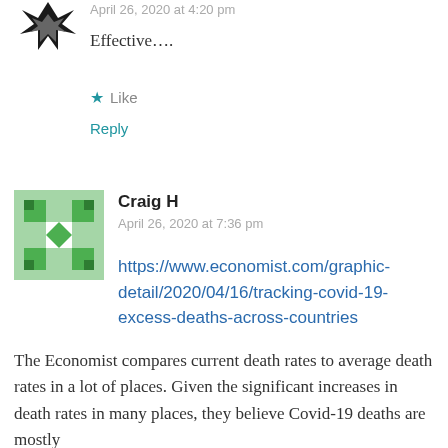April 26, 2020 at 4:20 pm
Effective….
Like
Reply
Craig H
April 26, 2020 at 7:36 pm
https://www.economist.com/graphic-detail/2020/04/16/tracking-covid-19-excess-deaths-across-countries
The Economist compares current death rates to average death rates in a lot of places. Given the significant increases in death rates in many places, they believe Covid-19 deaths are mostly